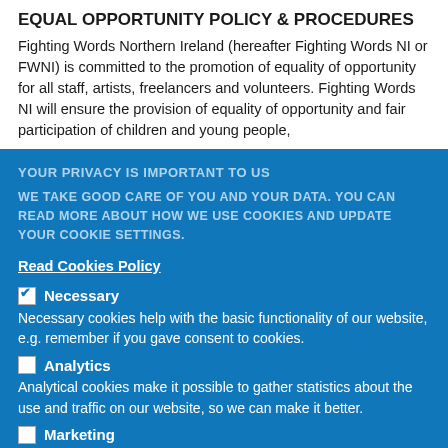EQUAL OPPORTUNITY POLICY & PROCEDURES
Fighting Words Northern Ireland (hereafter Fighting Words NI or FWNI) is committed to the promotion of equality of opportunity for all staff, artists, freelancers and volunteers. Fighting Words NI will ensure the provision of equality of opportunity and fair participation of children and young people,
YOUR PRIVACY IS IMPORTANT TO US
WE TAKE GOOD CARE OF YOU AND YOUR DATA. YOU CAN READ MORE ABOUT HOW WE USE COOKIES AND UPDATE YOUR COOKIE SETTINGS.
Read Cookies Policy
☑ Necessary
Necessary cookies help with the basic functionality of our website, e.g. remember if you gave consent to cookies.
☐ Analytics
Analytical cookies make it possible to gather statistics about the use and traffic on our website, so we can make it better.
☐ Marketing
By allowing us to use marketing cookies we'll be able to show you relevant offers and ads across different websites.